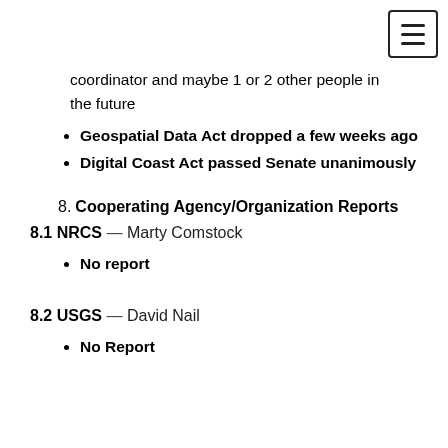coordinator and maybe 1 or 2 other people in the future
Geospatial Data Act dropped a few weeks ago
Digital Coast Act passed Senate unanimously
8. Cooperating Agency/Organization Reports
8.1 NRCS — Marty Comstock
No report
8.2 USGS — David Nail
No Report